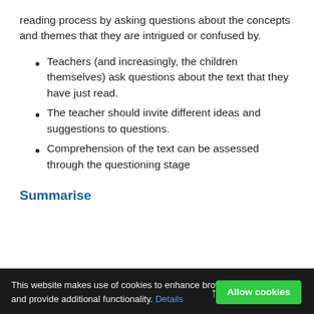reading process by asking questions about the concepts and themes that they are intrigued or confused by.
Teachers (and increasingly, the children themselves) ask questions about the text that they have just read.
The teacher should invite different ideas and suggestions to questions.
Comprehension of the text can be assessed through the questioning stage
Summarise
This website makes use of cookies to enhance browsing experience and provide additional functionality. Details